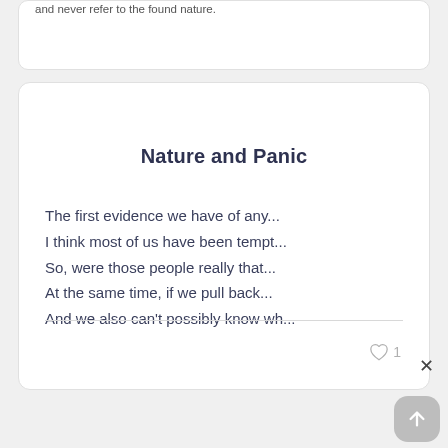and never refer to the found nature.
Nature and Panic
The first evidence we have of any...
I think most of us have been tempt...
So, were those people really that...
At the same time, if we pull back...
And we also can't possibly know wh...
♡ 1